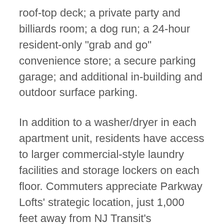roof-top deck; a private party and billiards room; a dog run; a 24-hour resident-only "grab and go" convenience store; a secure parking garage; and additional in-building and outdoor surface parking.
In addition to a washer/dryer in each apartment unit, residents have access to larger commercial-style laundry facilities and storage lockers on each floor. Commuters appreciate Parkway Lofts' strategic location, just 1,000 feet away from NJ Transit's Watsessing Avenue Station.
"Parkway Lofts' all-encompassing lifestyle is attracting a broad mix of tenants from every